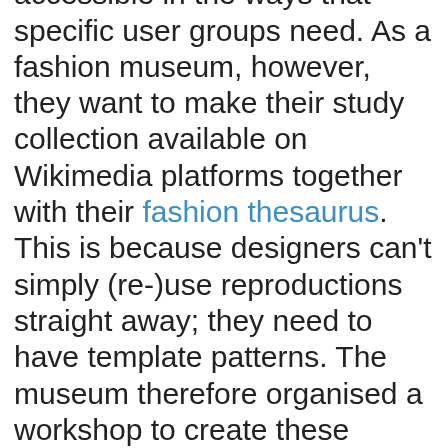collections aren't always accessible in the ways that specific user groups need. As a fashion museum, however, they want to make their study collection available on Wikimedia platforms together with their fashion thesaurus. This is because designers can't simply (re-)use reproductions straight away; they need to have template patterns. The museum therefore organised a workshop to create these patterns together with members of their community of (re-)users. The participants then agreed that the patterns could be posted on Wikimedia platforms under a free licence so that they can be (re-)used. This was an experiment within the Citizen Heritage project on citizen science; they are investigating whether this format can also be set up elsewhere.